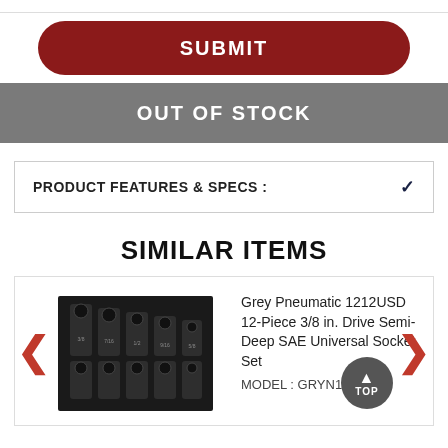SUBMIT
OUT OF STOCK
PRODUCT FEATURES & SPECS :
SIMILAR ITEMS
Grey Pneumatic 1212USD 12-Piece 3/8 in. Drive Semi-Deep SAE Universal Socket Set
MODEL : GRYN1212USD